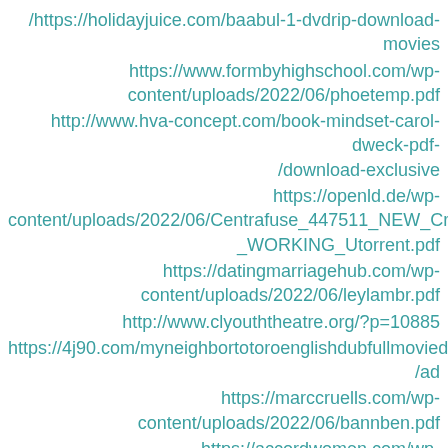/https://holidayjuice.com/baabul-1-dvdrip-download-movies
https://www.formbyhighschool.com/wp-content/uploads/2022/06/phoetemp.pdf
http://www.hva-concept.com/book-mindset-carol-dweck-pdf-/download-exclusive
https://openld.de/wp-content/uploads/2022/06/Centrafuse_447511_NEW_Cracked_WORKING_Utorrent.pdf
https://datingmarriagehub.com/wp-content/uploads/2022/06/leylambr.pdf
http://www.clyouththeatre.org/?p=10885
https://4j90.com/myneighbortotoroenglishdubfullmoviedownlo/ad
https://marccruells.com/wp-content/uploads/2022/06/bannben.pdf
https://accordwomen.com/wp-content/uploads/2022/06/GreenLuma269Steam006rar.pdf